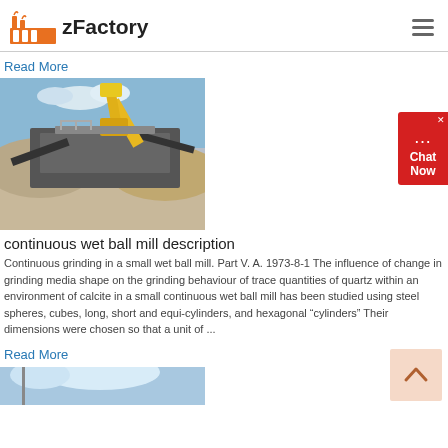zFactory
Read More
[Figure (photo): Industrial crusher/screening machine with yellow excavator in background at a quarry site, piles of crushed stone visible]
continuous wet ball mill description
Continuous grinding in a small wet ball mill. Part V. A. 1973-8-1 The influence of change in grinding media shape on the grinding behaviour of trace quantities of quartz within an environment of calcite in a small continuous wet ball mill has been studied using steel spheres, cubes, long, short and equi-cylinders, and hexagonal “cylinders” Their dimensions were chosen so that a unit of ...
Read More
[Figure (photo): Partial view of industrial equipment or machinery against a blue sky with clouds]